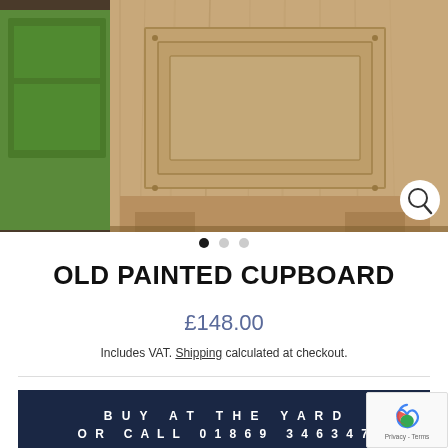[Figure (photo): Photo of an old painted wooden cupboard with distressed natural wood finish, partially painted green on adjacent piece, set against a dark background]
OLD PAINTED CUPBOARD
£148.00
Includes VAT. Shipping calculated at checkout.
BUY AT THE YARD
OR CALL 01869 346347
This reclaimed side cupboard has a lovely painted distressed finish, which exposes the natural wood colour underneath.